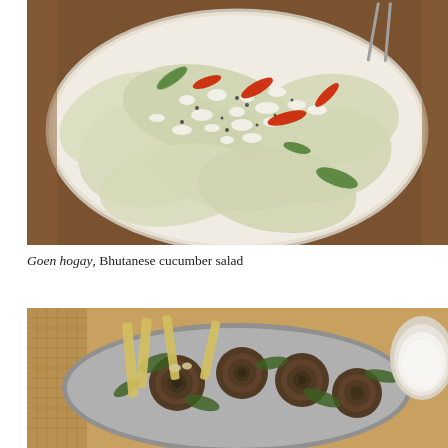[Figure (photo): A plate of Goen hogay, Bhutanese cucumber salad, showing large thin slices of cucumber topped with crumbled white cheese (likely feta or similar), red chili peppers, green chilies, and black pepper, served on a white plate atop a wooden surface with utensils visible at the top right.]
Goen hogay, Bhutanese cucumber salad
[Figure (photo): A metal plate of what appears to be a Bhutanese dish featuring cooked fiddlehead ferns or similar vegetable rolls alongside bamboo shoots, all appearing sautéed or stir-fried with spices, with a small bowl of white sauce or dip visible in the upper right corner.]